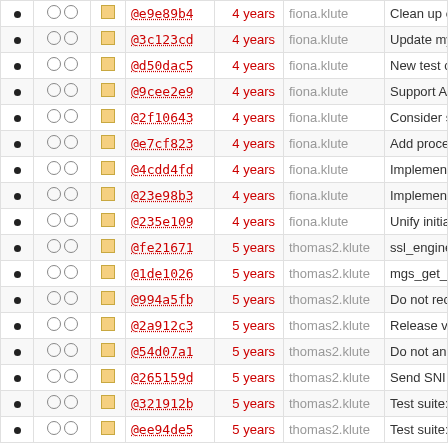|  |  |  | Hash | Age | User | Description |
| --- | --- | --- | --- | --- | --- | --- |
| • | ○ ○ | □ | @e9e89b4 | 4 years | fiona.klute | Clean up outdated |
| • | ○ ○ | □ | @3c123cd | 4 years | fiona.klute | Update my name, |
| • | ○ ○ | □ | @d50dac5 | 4 years | fiona.klute | New test case for |
| • | ○ ○ | □ | @9cee2e9 | 4 years | fiona.klute | Support ALPN (re |
| • | ○ ○ | □ | @2f10643 | 4 years | fiona.klute | Consider seconda |
| • | ○ ○ | □ | @e7cf823 | 4 years | fiona.klute | Add process_conn |
| • | ○ ○ | □ | @4cdd4fd | 4 years | fiona.klute | Implement ssl_var |
| • | ○ ○ | □ | @23e98b3 | 4 years | fiona.klute | Implement ssl_en |
| • | ○ ○ | □ | @235e109 | 4 years | fiona.klute | Unify initialization |
| • | ○ ○ | □ | @fe21671 | 5 years | thomas2.klute | ssl_engine_disabl |
| • | ○ ○ | □ | @1de1026 | 5 years | thomas2.klute | mgs_get_ocsp_re |
| • | ○ ○ | □ | @994a5fb | 5 years | thomas2.klute | Do not reconfigure |
| • | ○ ○ | □ | @2a912c3 | 5 years | thomas2.klute | Release version 0 |
| • | ○ ○ | □ | @54d07a1 | 5 years | thomas2.klute | Do not announce |
| • | ○ ○ | □ | @265159d | 5 years | thomas2.klute | Send SNI for prox |
| • | ○ ○ | □ | @321912b | 5 years | thomas2.klute | Test suite: Start O |
| • | ○ ○ | □ | @ee94de5 | 5 years | thomas2.klute | Test suite: Clean u |